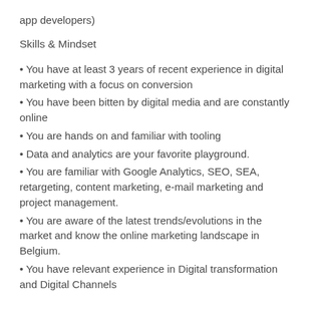app developers)
Skills & Mindset
You have at least 3 years of recent experience in digital marketing with a focus on conversion
You have been bitten by digital media and are constantly online
You are hands on and familiar with tooling
Data and analytics are your favorite playground.
You are familiar with Google Analytics, SEO, SEA, retargeting, content marketing, e-mail marketing and project management.
You are aware of the latest trends/evolutions in the market and know the online marketing landscape in Belgium.
You have relevant experience in Digital transformation and Digital Channels